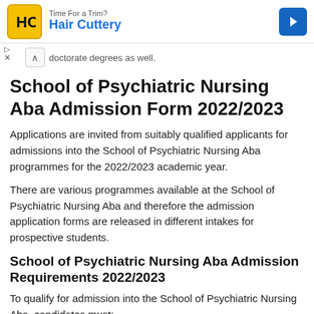[Figure (other): Hair Cuttery advertisement banner with logo and navigation arrow]
doctorate degrees as well.
School of Psychiatric Nursing Aba Admission Form 2022/2023
Applications are invited from suitably qualified applicants for admissions into the School of Psychiatric Nursing Aba programmes for the 2022/2023 academic year.
There are various programmes available at the School of Psychiatric Nursing Aba and therefore the admission application forms are released in different intakes for prospective students.
School of Psychiatric Nursing Aba Admission Requirements 2022/2023
To qualify for admission into the School of Psychiatric Nursing Aba, candidates must: